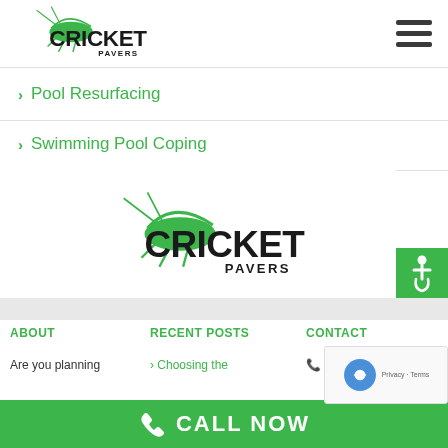[Figure (logo): Cricket Pavers logo in header - green cricket insect graphic with CRICKET text and PAVERS below]
> Pool Resurfacing
> Swimming Pool Coping
[Figure (logo): Cricket Pavers logo centered - green cricket insect graphic with CRICKET text and PAVERS below]
[Figure (infographic): Wheelchair accessibility icon on green background]
ABOUT
RECENT POSTS
CONTACT
Are you planning
> Choosing the
305 853
CALL NOW